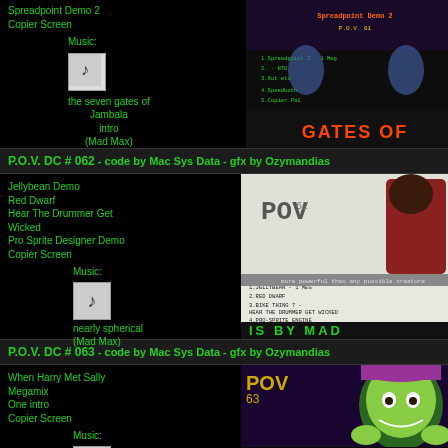Spreadpoint Demo 2
Copier Screen
Music:
the seven gates of Jambala intro (Mad Max)
[Figure (screenshot): POV demo screenshot showing 'GATES OF' menu screen with two figures]
P.O.V. DC # 062 - code by Mac Sys Data - gfx by Ozymandias
Jellybean Demo
Red Dwarf
Hear The Drummer Get Wicked
Pro Sprite Designer Demo
Copier Screen
Music:
nearly spherical (Mad Max)
[Figure (screenshot): POV 62 demo screenshot showing robed figure and menu, text 'IS BY MAD']
P.O.V. DC # 063 - code by Mac Sys Data - gfx by Ozymandias
When Harry Met Sally
Megamix
One intro
Copier Screen
Music:
Bach The Future (Mad Max)
[Figure (screenshot): POV 63 demo screenshot showing Joker face with purple hat]